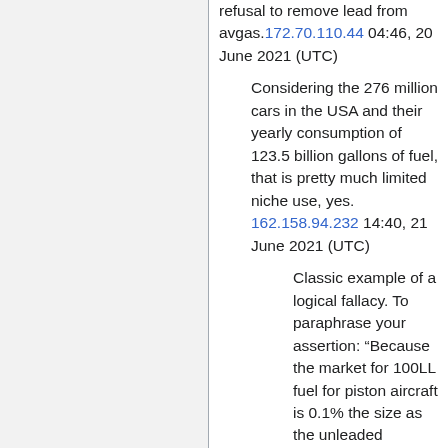refusal to remove lead from avgas. 172.70.110.44 04:46, 20 June 2021 (UTC)
Considering the 276 million cars in the USA and their yearly consumption of 123.5 billion gallons of fuel, that is pretty much limited niche use, yes. 162.158.94.232 14:40, 21 June 2021 (UTC)
Classic example of a logical fallacy. To paraphrase your assertion: “Because the market for 100LL fuel for piston aircraft is 0.1% the size as the unleaded